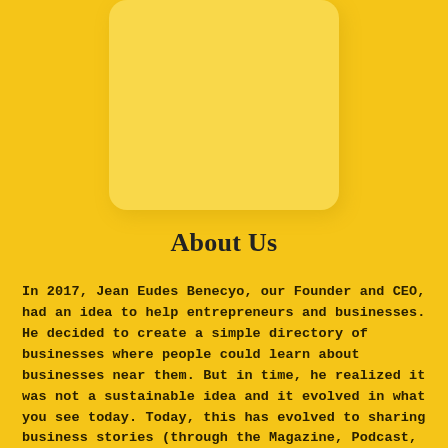[Figure (photo): Rounded rectangle placeholder image with yellow/golden background, partially visible at top center of page]
About Us
In 2017, Jean Eudes Benecyo, our Founder and CEO, had an idea to help entrepreneurs and businesses. He decided to create a simple directory of businesses where people could learn about businesses near them. But in time, he realized it was not a sustainable idea and it evolved in what you see today. Today, this has evolved to sharing business stories (through the Magazine, Podcast, TV, Books,...) and also helping these businesses by developing marketing tools (Websites, Apps, Email and Social Media Management, Paid Social Media